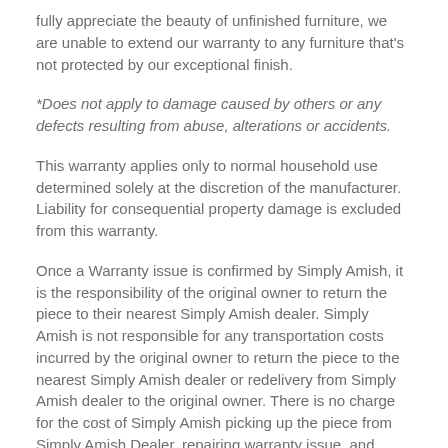fully appreciate the beauty of unfinished furniture, we are unable to extend our warranty to any furniture that's not protected by our exceptional finish.
*Does not apply to damage caused by others or any defects resulting from abuse, alterations or accidents.
This warranty applies only to normal household use determined solely at the discretion of the manufacturer. Liability for consequential property damage is excluded from this warranty.
Once a Warranty issue is confirmed by Simply Amish, it is the responsibility of the original owner to return the piece to their nearest Simply Amish dealer. Simply Amish is not responsible for any transportation costs incurred by the original owner to return the piece to the nearest Simply Amish dealer or redelivery from Simply Amish dealer to the original owner. There is no charge for the cost of Simply Amish picking up the piece from Simply Amish Dealer, repairing warranty issue, and returning to Simply Amish dealer. Simply Amish is sold through independently owned dealers, and Simply Amish has no control over their policy for picking up warranty related items at residences or businesses. This Lifetime Guarantee for workmanship or material cannot be